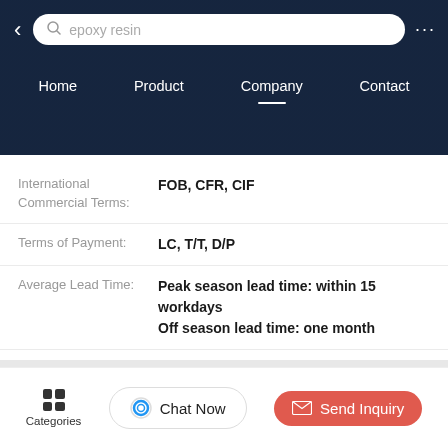[Figure (screenshot): Mobile app header with dark navy background, search bar showing 'epoxy resin', back arrow, and three-dot menu]
Home   Product   Company   Contact
| Field | Value |
| --- | --- |
| International Commercial Terms: | FOB, CFR, CIF |
| Terms of Payment: | LC, T/T, D/P |
| Average Lead Time: | Peak season lead time: within 15 workdays
Off season lead time: one month |
| Number of Foreign Trading Staff: | 11~20 People |
[Figure (screenshot): Mobile app bottom navigation bar with Categories (grid icon), Chat Now button, and Send Inquiry button]